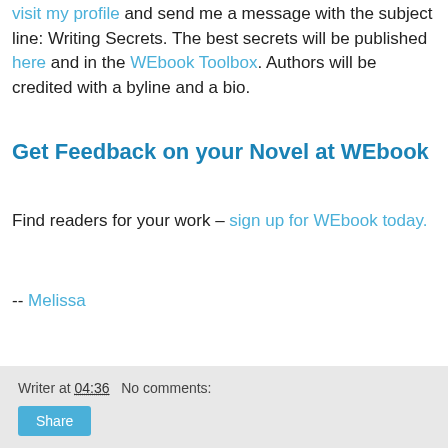visit my profile and send me a message with the subject line: Writing Secrets. The best secrets will be published here and in the WEbook Toolbox. Authors will be credited with a byline and a bio.
Get Feedback on your Novel at WEbook
Find readers for your work – sign up for WEbook today.
-- Melissa
Writer at 04:36   No comments:   Share